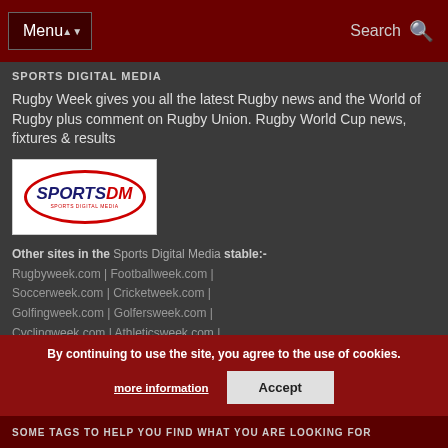Menu | Search
SPORTS DIGITAL MEDIA
Rugby Week gives you all the latest Rugby news and the World of Rugby plus comment on Rugby Union. Rugby World Cup news, fixtures & results
[Figure (logo): SportsDM logo - oval with SPORTS in navy and DM in red, SPORTS DIGITAL MEDIA subtitle]
Other sites in the Sports Digital Media stable:- Rugbyweek.com | Footballweek.com | Soccerweek.com | Cricketweek.com | Golfingweek.com | Golfersweek.com | Cyclingweek.com | Athleticsweek.com | Dartsweek.com | Formula1week.com | GridIronweek.com | Gymasticsweek.com | IceHockeyweek.com | Motorsportsweek.com | Netballweek.com | Snookerweek.com | Squashweek.com | Swimmingweek.com | Volleyballweek.com | Sportingweek.com |
By continuing to use the site, you agree to the use of cookies. more information Accept
SOME TAGS TO HELP YOU FIND WHAT YOU ARE LOOKING FOR